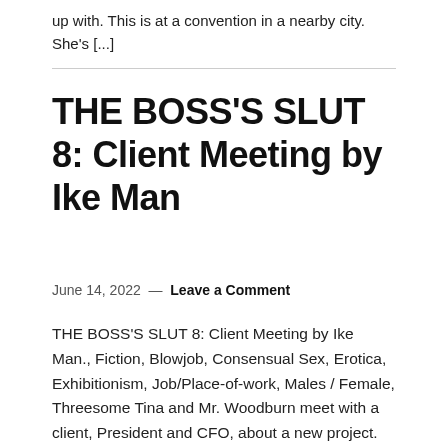up with. This is at a convention in a nearby city. She's [...]
THE BOSS'S SLUT 8: Client Meeting by Ike Man
June 14, 2022 — Leave a Comment
THE BOSS'S SLUT 8: Client Meeting by Ike Man., Fiction, Blowjob, Consensual Sex, Erotica, Exhibitionism, Job/Place-of-work, Males / Female, Threesome Tina and Mr. Woodburn meet with a client, President and CFO, about a new project. Tina takes both to dinner by herself. The after dinner lead to a three-some in their hotel. PART